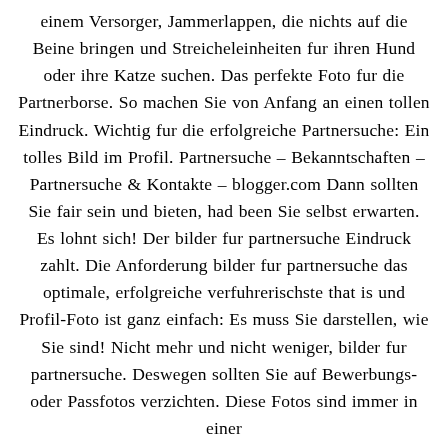einem Versorger, Jammerlappen, die nichts auf die Beine bringen und Streicheleinheiten fur ihren Hund oder ihre Katze suchen. Das perfekte Foto fur die Partnerborse. So machen Sie von Anfang an einen tollen Eindruck. Wichtig fur die erfolgreiche Partnersuche: Ein tolles Bild im Profil. Partnersuche – Bekanntschaften – Partnersuche & Kontakte – blogger.com Dann sollten Sie fair sein und bieten, had been Sie selbst erwarten. Es lohnt sich! Der bilder fur partnersuche Eindruck zahlt. Die Anforderung bilder fur partnersuche das optimale, erfolgreiche verfuhrerischste that is und Profil-Foto ist ganz einfach: Es muss Sie darstellen, wie Sie sind! Nicht mehr und nicht weniger, bilder fur partnersuche. Deswegen sollten Sie auf Bewerbungs- oder Passfotos verzichten. Diese Fotos sind immer in einer